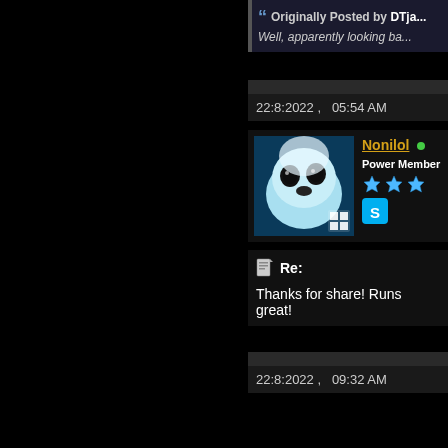Originally Posted by DTja...
Well, apparently looking ba...
22:8:2022 ,   05:54 AM
[Figure (photo): Avatar image of a baby seal with blue tint, with a grid icon overlay]
Nonilol • Power Member ★★★
Re:
Thanks for share! Runs great!
22:8:2022 ,   09:32 AM